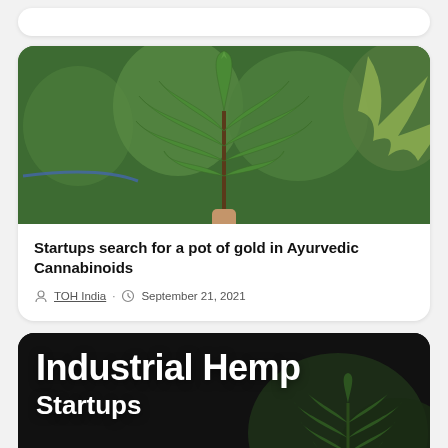[Figure (photo): Partial view of a white card at top, mostly cropped out]
[Figure (photo): Close-up photo of a cannabis/hemp leaf held up against a background of green cannabis plants]
Startups search for a pot of gold in Ayurvedic Cannabinoids
TOH India · September 21, 2021
[Figure (photo): Dark-background image with text overlay reading 'Industrial Hemp Startups' over a cannabis plant photo]